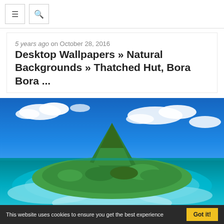≡ 🔍
5 years ago on October 28, 2016
Desktop Wallpapers » Natural Backgrounds » Thatched Hut, Bora Bora ...
[Figure (photo): Aerial photograph of Bora Bora island, French Polynesia, showing a lush green volcanic island peak surrounded by turquoise lagoon and coral reefs, with blue sky and white clouds above.]
This website uses cookies to ensure you get the best experience
Got it!